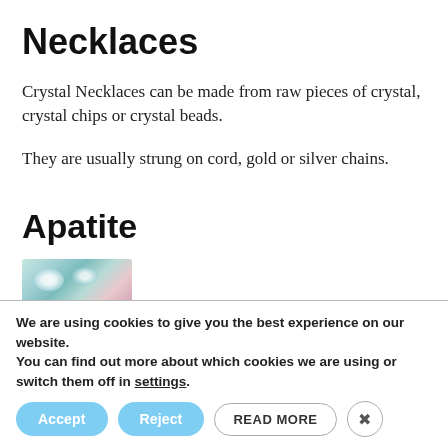Necklaces
Crystal Necklaces can be made from raw pieces of crystal, crystal chips or crystal beads.
They are usually strung on cord, gold or silver chains.
Apatite
[Figure (photo): Close-up photo of teal/blue-green crystal beads or apatite stones with a glossy appearance.]
We are using cookies to give you the best experience on our website.
You can find out more about which cookies we are using or switch them off in settings.
Accept   Reject   READ MORE   ×